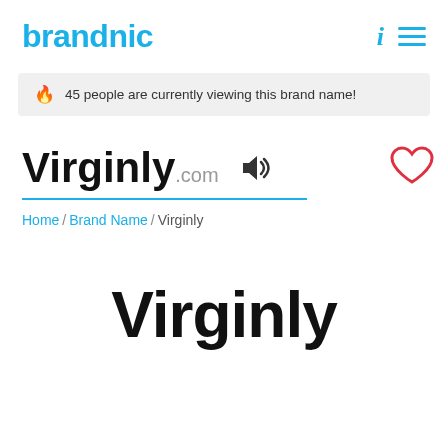brandnic
45 people are currently viewing this brand name!
Virginly.com
Home / Brand Name / Virginly
Virginly